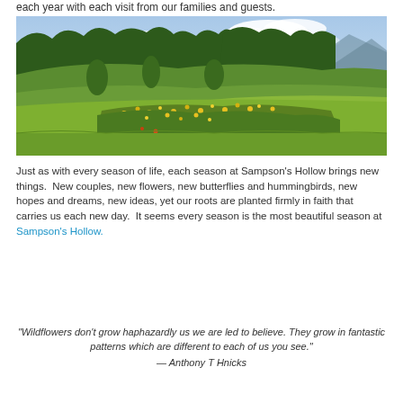each year with each visit from our families and guests.
[Figure (photo): Landscape photo of Sampson's Hollow showing a green meadow with wildflowers in foreground, trees and mountains in background under a partly cloudy sky.]
Just as with every season of life, each season at Sampson's Hollow brings new things.  New couples, new flowers, new butterflies and hummingbirds, new hopes and dreams, new ideas, yet our roots are planted firmly in faith that carries us each new day.  It seems every season is the most beautiful season at Sampson's Hollow.
“Wildflowers don’t grow haphazardly us we are led to believe. They grow in fantastic patterns which are different to each of us you see.”
— Anthony T Hnicks